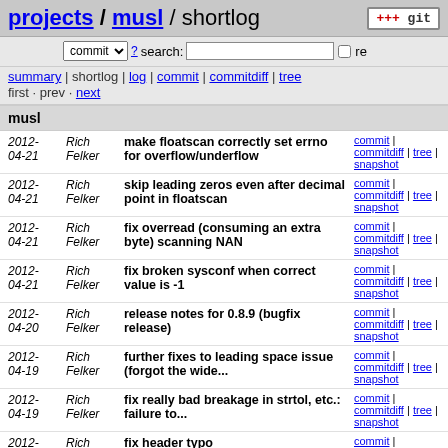projects / musl / shortlog
commit ? search: re
summary | shortlog | log | commit | commitdiff | tree
first · prev · next
musl
| Date | Author | Message | Links |
| --- | --- | --- | --- |
| 2012-04-21 | Rich Felker | make floatscan correctly set errno for overflow/underflow | commit | commitdiff | tree | snapshot |
| 2012-04-21 | Rich Felker | skip leading zeros even after decimal point in floatscan | commit | commitdiff | tree | snapshot |
| 2012-04-21 | Rich Felker | fix overread (consuming an extra byte) scanning NAN | commit | commitdiff | tree | snapshot |
| 2012-04-21 | Rich Felker | fix broken sysconf when correct value is -1 | commit | commitdiff | tree | snapshot |
| 2012-04-20 | Rich Felker | release notes for 0.8.9 (bugfix release) | commit | commitdiff | tree | snapshot |
| 2012-04-19 | Rich Felker | further fixes to leading space issue (forgot the wide... | commit | commitdiff | tree | snapshot |
| 2012-04-19 | Rich Felker | fix really bad breakage in strtol, etc.: failure to... | commit | commitdiff | tree | snapshot |
| 2012-04-18 | Rich Felker | fix header typo | commit | commitdiff | tree | snapshot |
| 2012-04-18 | Rich Felker | legacy junk compatibility grab-bag | commit | commitdiff | tree |